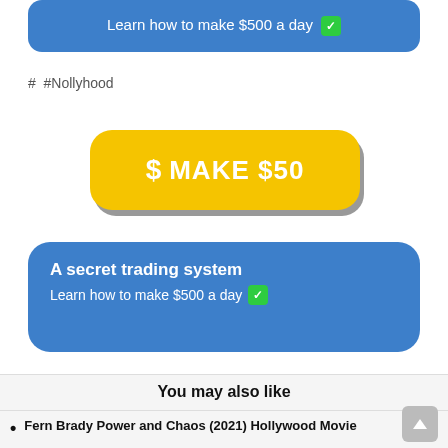[Figure (screenshot): Blue rounded button with text 'Learn how to make $500 a day' and green checkmark badge, partially cropped at top]
#  #Nollyhood
[Figure (screenshot): Yellow rounded button with dollar sign icon and text 'MAKE $50' in white bold letters, with gray drop shadow]
[Figure (screenshot): Blue rounded card with bold white title 'A secret trading system' and subtitle 'Learn how to make $500 a day' with green checkmark badge]
You may also like
Fern Brady Power and Chaos (2021) Hollywood Movie